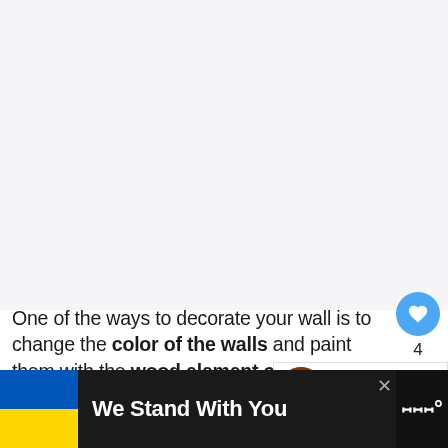[Figure (photo): Large white/light gray empty image area at top of page]
One of the ways to decorate your wall is to change the color of the walls and paint them with the wood element colors like blue, and teal. These paint colors offer a st...
[Figure (other): What's Next panel with fire image thumbnail and text: 15 Feng Shui Fire Element...]
[Figure (other): Advertisement banner: We Stand With You with Ukraine flag colors]